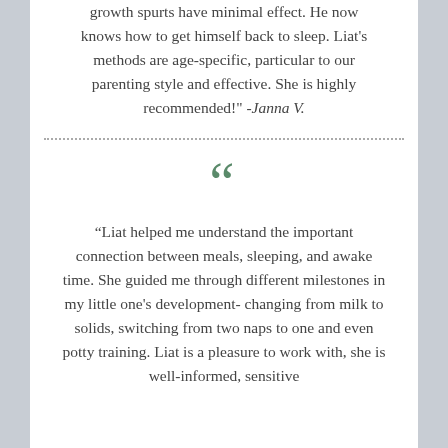growth spurts have minimal effect. He now knows how to get himself back to sleep. Liat's methods are age-specific, particular to our parenting style and effective. She is highly recommended!" -Janna V.
“Liat helped me understand the important connection between meals, sleeping, and awake time. She guided me through different milestones in my little one's development- changing from milk to solids, switching from two naps to one and even potty training. Liat is a pleasure to work with, she is well-informed, sensitive